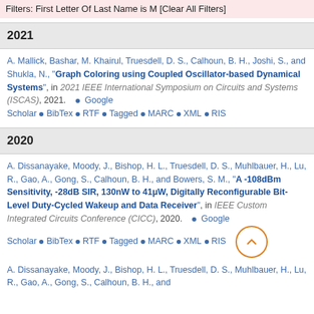Filters: First Letter Of Last Name is M [Clear All Filters]
2021
A. Mallick, Bashar, M. Khairul, Truesdell, D. S., Calhoun, B. H., Joshi, S., and Shukla, N., "Graph Coloring using Coupled Oscillator-based Dynamical Systems", in 2021 IEEE International Symposium on Circuits and Systems (ISCAS), 2021. • Google Scholar • BibTex • RTF • Tagged • MARC • XML • RIS
2020
A. Dissanayake, Moody, J., Bishop, H. L., Truesdell, D. S., Muhlbauer, H., Lu, R., Gao, A., Gong, S., Calhoun, B. H., and Bowers, S. M., "A -108dBm Sensitivity, -28dB SIR, 130nW to 41μW, Digitally Reconfigurable Bit-Level Duty-Cycled Wakeup and Data Receiver", in IEEE Custom Integrated Circuits Conference (CICC), 2020. • Google Scholar • BibTex • RTF • Tagged • MARC • XML • RIS
A. Dissanayake, Moody, J., Bishop, H. L., Truesdell, D. S., Muhlbauer, H., Lu, R., Gao, A., Gong, S., Calhoun, B. H., and ...